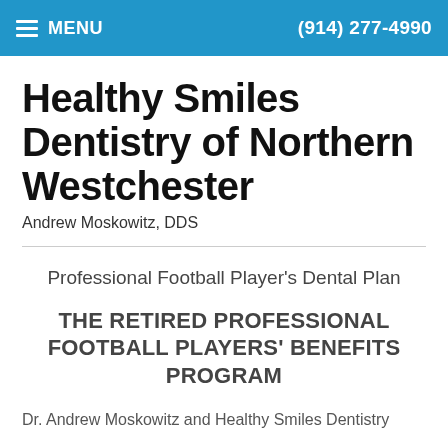MENU | (914) 277-4990
Healthy Smiles Dentistry of Northern Westchester
Andrew Moskowitz, DDS
Professional Football Player's Dental Plan
THE RETIRED PROFESSIONAL FOOTBALL PLAYERS' BENEFITS PROGRAM
Dr. Andrew Moskowitz and Healthy Smiles Dentistry